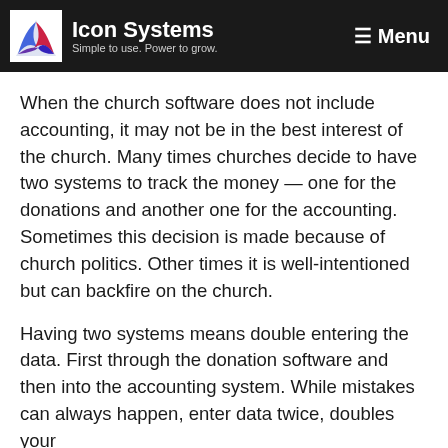Icon Systems — Simple to use. Power to grow. — Menu
When the church software does not include accounting, it may not be in the best interest of the church. Many times churches decide to have two systems to track the money — one for the donations and another one for the accounting. Sometimes this decision is made because of church politics. Other times it is well-intentioned but can backfire on the church.
Having two systems means double entering the data. First through the donation software and then into the accounting system. While mistakes can always happen, enter data twice, doubles your